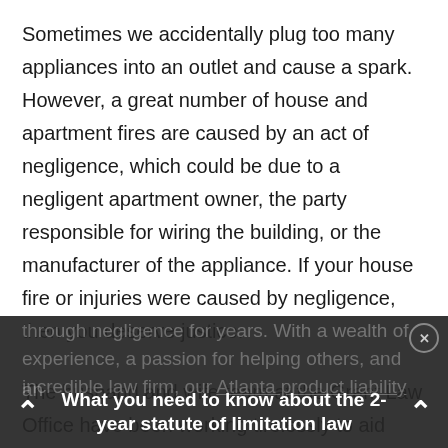Sometimes we accidentally plug too many appliances into an outlet and cause a spark. However, a great number of house and apartment fires are caused by an act of negligence, which could be due to a negligent apartment owner, the party responsible for wiring the building, or the manufacturer of the appliance. If your house fire or injuries were caused by negligence, then you deserve justice.
The husband and wife team at the Grant Law Office have been working tirelessly to aid those injured through negligence for years. With a wealth of experience, a passion for helping others, and an incredible law firm, our Atlanta product liability
What you need to know about the 2-year statute of limitation law